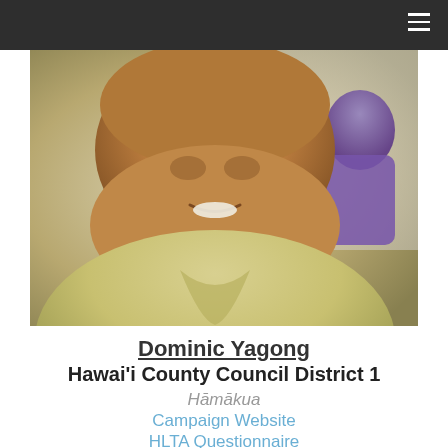[Figure (photo): Close-up photo of Dominic Yagong, a heavyset man wearing a light yellow polo shirt, smiling. A woman in a purple shirt is visible in the background.]
Dominic Yagong
Hawai'i County Council District 1
Hāmākua
Campaign Website
HLTA Questionnaire